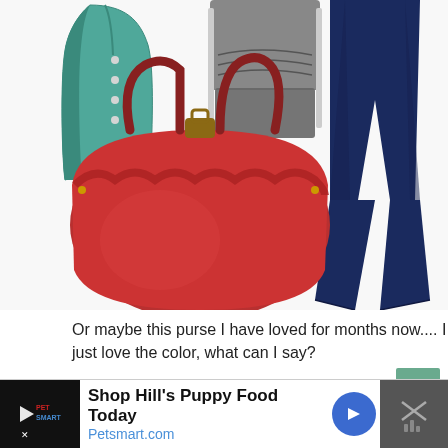[Figure (photo): Fashion collage showing teal/green cardigan, gray layered top, dark flare jeans, red ruched leather handbag, and teal ballet flat shoe against white background]
Or maybe this purse I have loved for months now....  I just love the color, what can I say?
[Figure (photo): Close-up photo of a teal/turquoise handbag with gold hardware rings and zipper accents, shown being held with dark denim jeans visible in background]
Shop Hill's Puppy Food Today
Petsmart.com